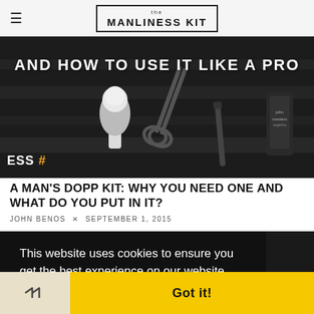the MANLINESS KIT
[Figure (photo): Black and white hero image of barbershop tools (shaving brush, scissors, razor, grooming products) on wooden surface with text overlay 'And How to Use It Like A Pro']
A MAN'S DOPP KIT: WHY YOU NEED ONE AND WHAT DO YOU PUT IN IT?
JOHN BENOS × SEPTEMBER 1, 2015
This website uses cookies to ensure you get the best experience on our website. Learn more
Got it!